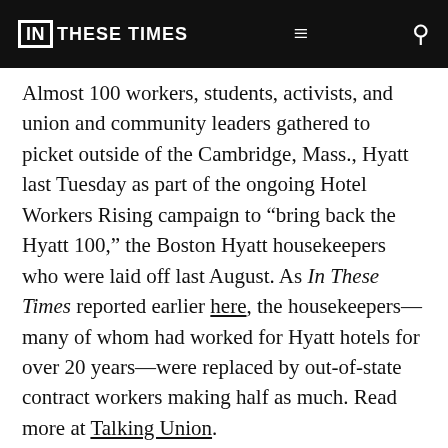IN THESE TIMES
Almost 100 workers, students, activists, and union and community leaders gathered to picket outside of the Cambridge, Mass., Hyatt last Tuesday as part of the ongoing Hotel Workers Rising campaign to “bring back the Hyatt 100,” the Boston Hyatt housekeepers who were laid off last August. As In These Times reported earlier here, the housekeepers—many of whom had worked for Hyatt hotels for over 20 years—were replaced by out-of-state contract workers making half as much. Read more at Talking Union.
Police Unions Picket for Collective Bargaining Rights